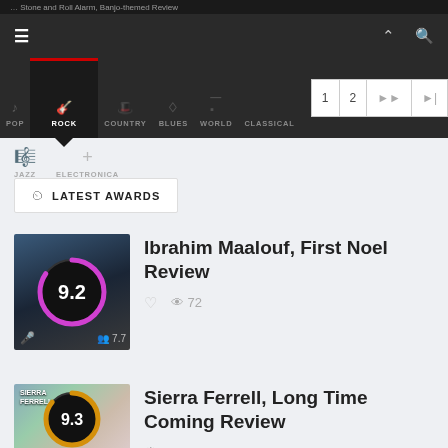... Stone and Roll Alarm, Banjo-themed Review
POP  ROCK  COUNTRY  BLUES  WORLD  CLASSICAL  JAZZ  ELECTRONICA
1  2  ▶▶  ▶|
LATEST AWARDS
Ibrahim Maalouf, First Noel Review
♡  👁 72
[Figure (infographic): Album thumbnail with score circle showing 9.2 in magenta, crowd score 7.7]
Sierra Ferrell, Long Time Coming Review
[Figure (infographic): Album thumbnail with score circle showing 9.3 in orange/gold]